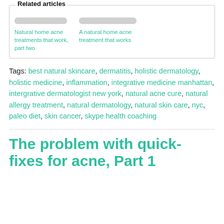Related articles
Natural home acne treatments that work, part two
A natural home acne treatment that works
Tags: best natural skincare, dermatitis, holistic dermatology, holistic medicine, inflammation, integrative medicine manhattan, intergrative dermatologist new york, natural acne cure, natural allergy treatment, natural dermatology, natural skin care, nyc, paleo diet, skin cancer, skype health coaching
The problem with quick-fixes for acne, Part 1